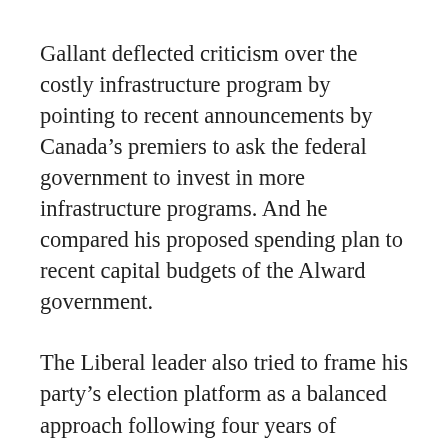Gallant deflected criticism over the costly infrastructure program by pointing to recent announcements by Canada's premiers to ask the federal government to invest in more infrastructure programs. And he compared his proposed spending plan to recent capital budgets of the Alward government.
The Liberal leader also tried to frame his party's election platform as a balanced approach following four years of “reckless cuts.”
“Mr. Alward has had a fixation on fracking and cuts in the last four years and where has that gotten us? It has gotten us 3,000 less full-time jobs, it has gotten us the first government in 40 years to not create any jobs for